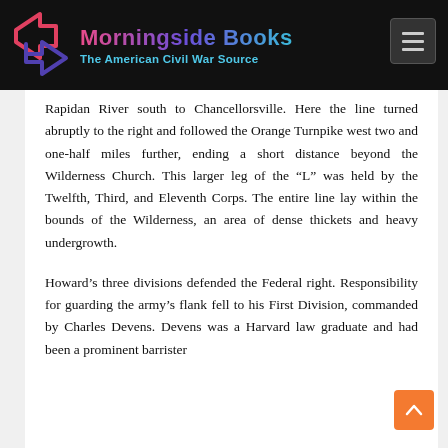Morningside Books — The American Civil War Source
Rapidan River south to Chancellorsville. Here the line turned abruptly to the right and followed the Orange Turnpike west two and one-half miles further, ending a short distance beyond the Wilderness Church. This larger leg of the "L" was held by the Twelfth, Third, and Eleventh Corps. The entire line lay within the bounds of the Wilderness, an area of dense thickets and heavy undergrowth.
Howard's three divisions defended the Federal right. Responsibility for guarding the army's flank fell to his First Division, commanded by Charles Devens. Devens was a Harvard law graduate and had been a prominent barrister